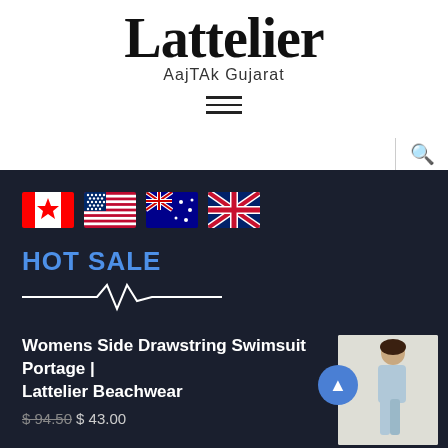Lattelier
AajTAk Gujarat
[Figure (other): Hamburger menu icon with three horizontal lines]
[Figure (other): Search icon (magnifying glass)]
[Figure (other): Four country flag emojis: Canada, USA, Australia, UK]
HOT SALE
[Figure (other): Heartbeat / pulse line decorative element]
Womens Side Drawstring Swimsuit Portage | Lattelier Beachwear
$ 94.50  $ 43.00
[Figure (photo): Woman in light blue outfit standing, product photo thumbnail]